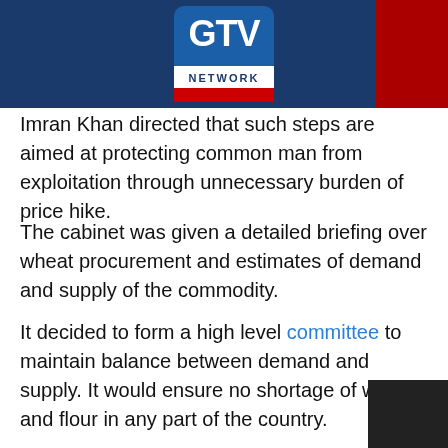[Figure (logo): GTV Network HD logo on dark blue header bar with red block on right]
Imran Khan directed that such steps are aimed at protecting common man from exploitation through unnecessary burden of price hike.
The cabinet was given a detailed briefing over wheat procurement and estimates of demand and supply of the commodity.
It decided to form a high level committee to maintain balance between demand and supply. It would ensure no shortage of wheat and flour in any part of the country.
The committee, in collaboration with flour mills, will give its recommendations in this regard.
Turning to another issue, Prime Minister Imran Khan directed secretary interior to present recommendations of